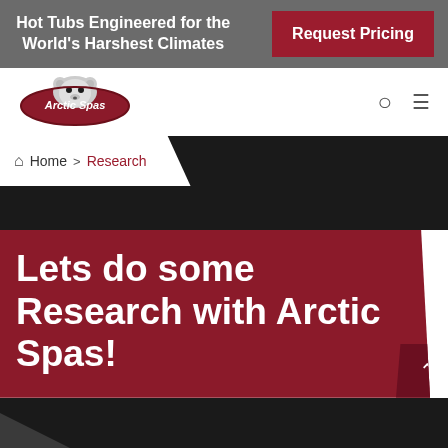Hot Tubs Engineered for the World's Harshest Climates
Request Pricing
[Figure (logo): Arctic Spas logo with polar bear]
Home > Research
Lets do some Research with Arctic Spas!